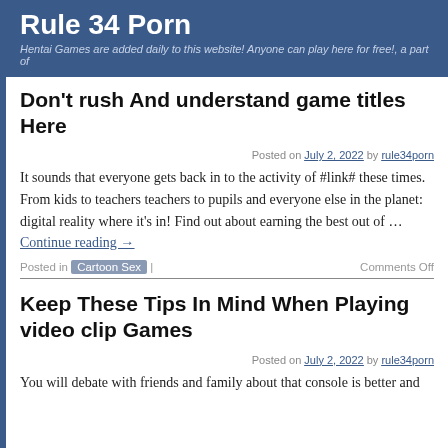Rule 34 Porn
Hentai Games are added daily to this website! Anyone can play here for free!, a part of
Don't rush And understand game titles Here
Posted on July 2, 2022 by rule34porn
It sounds that everyone gets back in to the activity of #link# these times. From kids to teachers teachers to pupils and everyone else in the planet: digital reality where it's in! Find out about earning the best out of … Continue reading →
Posted in Cartoon Sex | Comments Off
Keep These Tips In Mind When Playing video clip Games
Posted on July 2, 2022 by rule34porn
You will debate with friends and family about that console is better and...